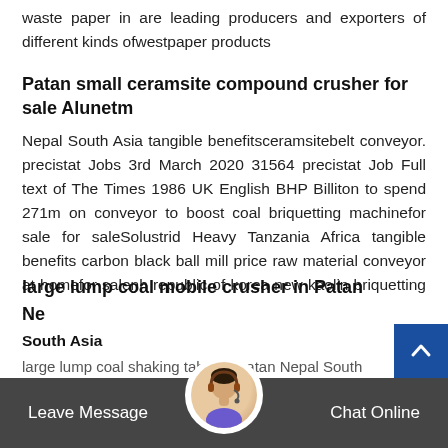waste paper in are leading producers and exporters of different kinds ofwestpaper products
Patan small ceramsite compound crusher for sale Alunetm
Nepal South Asia tangible benefitsceramsitebelt conveyor. precistat Jobs 3rd March 2020 31564 precistat Job Full text of The Times 1986 UK English BHP Billiton to spend 271m on conveyor to boost coal briquetting machinefor sale for saleSolustrid Heavy Tanzania Africa tangible benefits carbon black ball mill price raw material conveyor at homefor salenh republic of korea new kaolin briquetting ...
large lump coal mobile crusher in Patan Nepal South Asia
large lump coal shaking table in Patan Nepal South
Leave Message   Chat Online